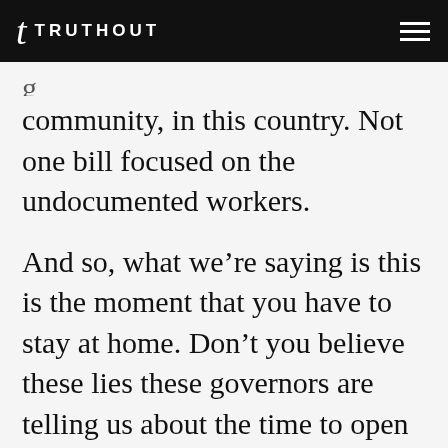TRUTHOUT
g... community, in this country. Not one bill focused on the undocumented workers.
And so, what we’re saying is this is the moment that you have to stay at home. Don’t you believe these lies these governors are telling us about the time to open back up the society. Stay at home. Stay alive. Organize. Organize. And we’re demanding that all the things that were not done up front that should have been done, they have to be done now, in order for us to move f...